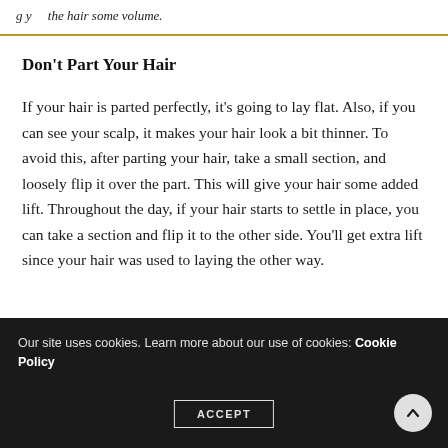g y ... the hair some volume.
Don't Part Your Hair
If your hair is parted perfectly, it's going to lay flat. Also, if you can see your scalp, it makes your hair look a bit thinner. To avoid this, after parting your hair, take a small section, and loosely flip it over the part. This will give your hair some added lift. Throughout the day, if your hair starts to settle in place, you can take a section and flip it to the other side. You'll get extra lift since your hair was used to laying the other way.
Our site uses cookies. Learn more about our use of cookies: Cookie Policy  ACCEPT